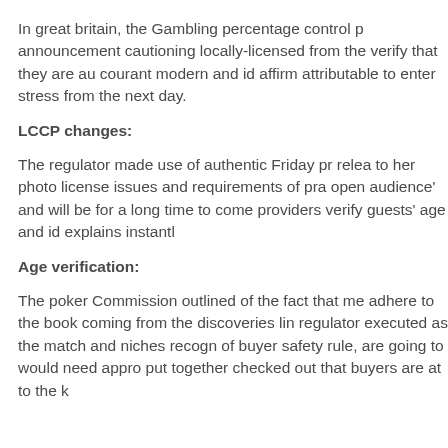In great britain, the Gambling percentage control p announcement cautioning locally-licensed from the verify that they are au courant modern and id affirm attributable to enter stress from the next day.
LCCP changes:
The regulator made use of authentic Friday pr relea to her photo license issues and requirements of pra open audience' and will be for a long time to come providers verify guests' age and id explains instantl
Age verification:
The poker Commission outlined of the fact that me adhere to the book coming from the discoveries lin regulator executed as the match and niches recogn of buyer safety rule, are going to would need appro put together checked out that buyers are at to the k